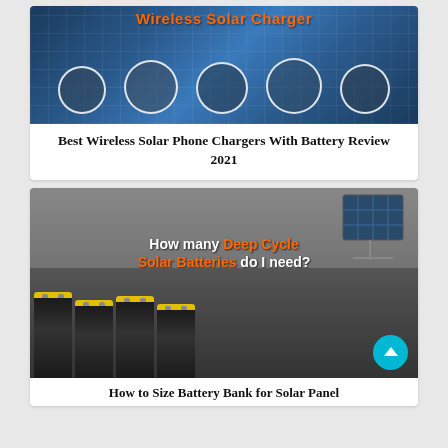[Figure (photo): Photo collage showing wireless solar chargers with multiple products circled on a solar panel background with orange title text]
Best Wireless Solar Phone Chargers With Battery Review 2021
[Figure (photo): Photo showing deep cycle solar batteries stacked, with text overlay 'How many Deep Cycle Solar Batteries do I need?' and a construction worker, solar panel in background, teal scroll-up button]
How to Size Battery Bank for Solar Panel